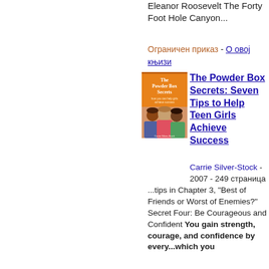Eleanor Roosevelt The Forty Foot Hole Canyon...
Ограничен приказ - О овој књизи
[Figure (illustration): Book cover for The Powder Box Secrets: Seven Tips to Help Teen Girls Achieve Success, orange cover with three teen girls]
The Powder Box Secrets: Seven Tips to Help Teen Girls Achieve Success
Carrie Silver-Stock - 2007 - 249 страница
...tips in Chapter 3, "Best of Friends or Worst of Enemies?" Secret Four: Be Courageous and Confident You gain strength, courage, and confidence by every...which you